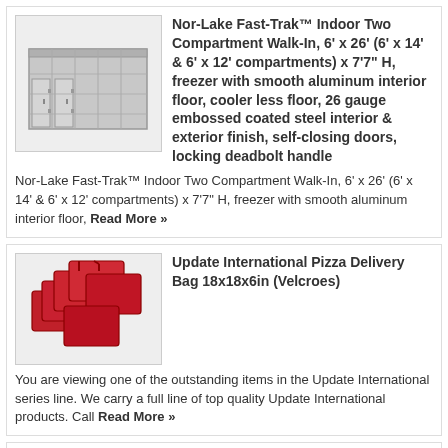[Figure (photo): Walk-in cooler/freezer unit, light gray, rectangular industrial refrigeration unit]
Nor-Lake Fast-Trak™ Indoor Two Compartment Walk-In, 6' x 26' (6' x 14' & 6' x 12' compartments) x 7'7" H, freezer with smooth aluminum interior floor, cooler less floor, 26 gauge embossed coated steel interior & exterior finish, self-closing doors, locking deadbolt handle
Nor-Lake Fast-Trak™ Indoor Two Compartment Walk-In, 6' x 26' (6' x 14' & 6' x 12' compartments) x 7'7" H, freezer with smooth aluminum interior floor, Read More »
[Figure (photo): Red pizza delivery bags stacked together]
Update International Pizza Delivery Bag 18x18x6in (Velcroes)
You are viewing one of the outstanding items in the Update International series line. We carry a full line of top quality Update International products. Call Read More »
[Figure (photo): Bradley digital thermometer device with probe]
Bradley Digital Thermometer
You are viewing one of the outstanding items in the Bradkley Smoker line. We carry a full line of top quality Bradley products. Call customer service Read More »